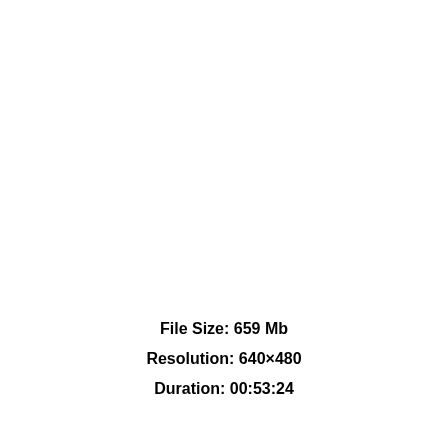File Size: 659 Mb
Resolution: 640×480
Duration: 00:53:24